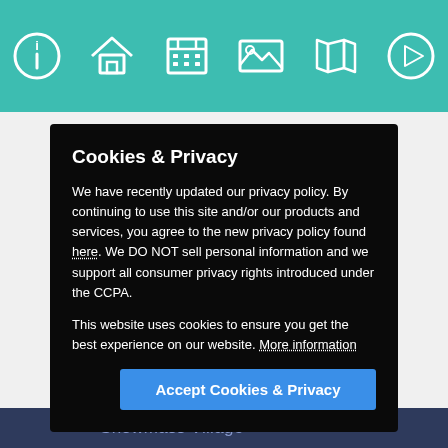[Figure (screenshot): Teal navigation bar with six white outline icons: info (circle-i), home (house), calendar/grid, image/mountains, map/book, and play button]
Cookies & Privacy
We have recently updated our privacy policy. By continuing to use this site and/or our products and services, you agree to the new privacy policy found here. We DO NOT sell personal information and we support all consumer privacy rights introduced under the CCPA.
This website uses cookies to ensure you get the best experience on our website. More information
Accept Cookies & Privacy
Snowmass Village